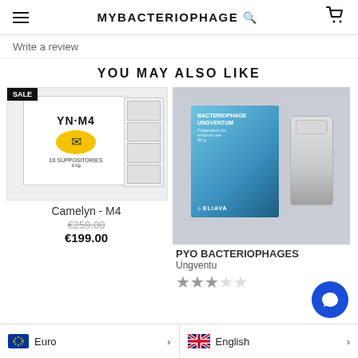MYBACTERIOPHAGE
Write a review
YOU MAY ALSO LIKE
[Figure (photo): Product photo showing Camelyn-M4 suppositories box with SALE badge, alongside blister packs]
Camelyn - M4
€259.00
€199.00
[Figure (photo): Product photo showing Bacteriophage Ungventum box from Eliava brand with a vial, on gray background]
PYO BACTERIOPHAGES Ungventu
Euro  |  English